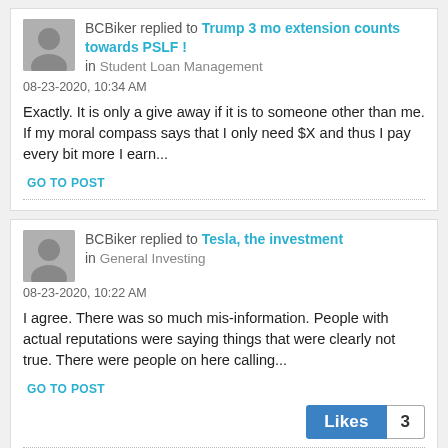BCBiker replied to Trump 3 mo extension counts towards PSLF ! in Student Loan Management
08-23-2020, 10:34 AM
Exactly. It is only a give away if it is to someone other than me. If my moral compass says that I only need $X and thus I pay every bit more I earn...
GO TO POST
BCBiker replied to Tesla, the investment in General Investing
08-23-2020, 10:22 AM
I agree. There was so much mis-information. People with actual reputations were saying things that were clearly not true. There were people on here calling...
GO TO POST
Likes 3
BCBiker replied to Tesla, the investment